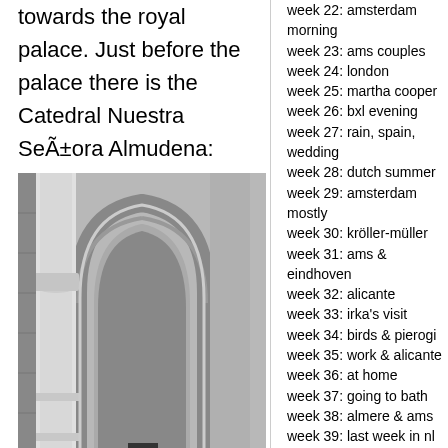towards the royal palace. Just before the palace there is the Catedral Nuestra Señora Almudena:
[Figure (photo): Black and white photo of Gothic arched columns and architecture of the Catedral Nuestra Señora Almudena in Madrid]
week 22: amsterdam morning
week 23: ams couples
week 24: london
week 25: martha cooper
week 26: bxl evening
week 27: rain, spain, wedding
week 28: dutch summer
week 29: amsterdam mostly
week 30: kröller-müller
week 31: ams & eindhoven
week 32: alicante
week 33: irka's visit
week 34: birds & pierogi
week 35: work & alicante
week 36: at home
week 37: going to bath
week 38: almere & ams
week 39: last week in nl
week 40: 1st week in alicante
week 41: spanish rain
week 42: family visit
week 43: mercado central
week 44: going home
week 45: alicante winter beach
week 46: santa pola to